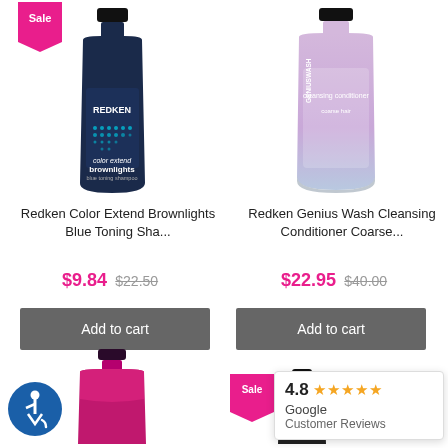[Figure (photo): Redken Color Extend Brownlights Blue Toning Shampoo dark blue bottle with sale tag]
[Figure (photo): Redken Genius Wash Cleansing Conditioner Coarse lavender/pink bottle]
Redken Color Extend Brownlights Blue Toning Sha...
Redken Genius Wash Cleansing Conditioner Coarse...
$9.84  $22.50
$22.95  $40.00
Add to cart
Add to cart
[Figure (logo): Accessibility wheelchair icon in blue circle]
[Figure (photo): Pink/magenta hair product bottle, partially visible at bottom]
[Figure (photo): Sale tag and dark bottle bottom right]
4.8 ★★★★★ Google Customer Reviews